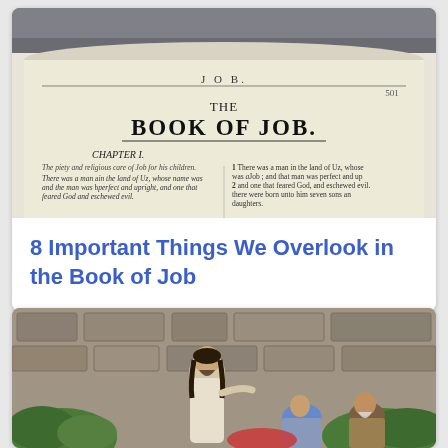[Figure (photo): Close-up photograph of an open Bible showing the beginning of the Book of Job, with 'JOB.' header at top, 'THE BOOK OF JOB.' title in large serif font, and Chapter I text in two columns with italic and roman type]
8 Important Things We Overlook in the Book of Job
[Figure (photo): Outdoor reenactment photo showing a figure dressed as Jesus in white robes with long dark hair, gesturing toward two seated elderly figures against a stone wall background with green plants]